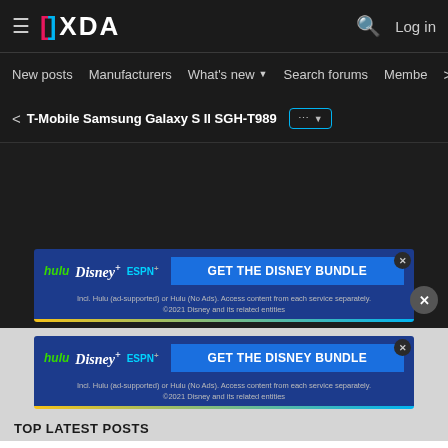XDA Developers navigation bar with logo, search, and Log in
New posts  Manufacturers  What's new ▾  Search forums  Membe  >
< T-Mobile Samsung Galaxy S II SGH-T989  ... ▾
[Figure (screenshot): Disney Bundle advertisement banner: hulu, Disney+, ESPN+ logos with GET THE DISNEY BUNDLE CTA. Fine print: Incl. Hulu (ad-supported) or Hulu (No Ads). Access content from each service separately. ©2021 Disney and its related entities]
[Figure (screenshot): Disney Bundle advertisement banner (second instance): hulu, Disney+, ESPN+ logos with GET THE DISNEY BUNDLE CTA. Fine print: Incl. Hulu (ad-supported) or Hulu (No Ads). Access content from each service separately. ©2021 Disney and its related entities]
TOP LATEST POSTS